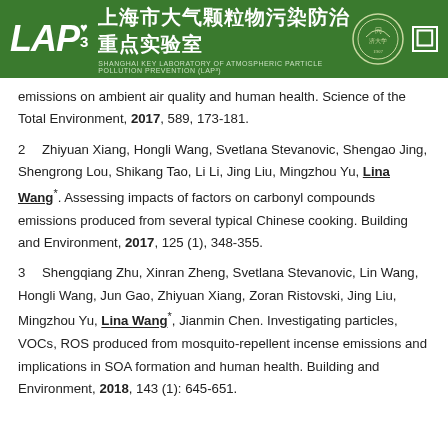上海市大气颗粒物污染防治重点实验室 SHANGHAI KEY LABORATORY OF ATMOSPHERIC PARTICLE POLLUTION PREVENTION (LAP³)
emissions on ambient air quality and human health. Science of the Total Environment, 2017, 589, 173-181.
2. Zhiyuan Xiang, Hongli Wang, Svetlana Stevanovic, Shengao Jing, Shengrong Lou, Shikang Tao, Li Li, Jing Liu, Mingzhou Yu, Lina Wang*. Assessing impacts of factors on carbonyl compounds emissions produced from several typical Chinese cooking. Building and Environment, 2017, 125 (1), 348-355.
3. Shengqiang Zhu, Xinran Zheng, Svetlana Stevanovic, Lin Wang, Hongli Wang, Jun Gao, Zhiyuan Xiang, Zoran Ristovski, Jing Liu, Mingzhou Yu, Lina Wang*, Jianmin Chen. Investigating particles, VOCs, ROS produced from mosquito-repellent incense emissions and implications in SOA formation and human health. Building and Environment, 2018, 143 (1): 645-651.